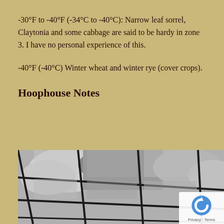-30°F to -40°F (-34°C to -40°C): Narrow leaf sorrel, Claytonia and some cabbage are said to be hardy in zone 3. I have no personal experience of this.
-40°F (-40°C) Winter wheat and winter rye (cover crops).
Hoophouse Notes
[Figure (photo): Black and white photograph of a hoophouse roof structure, showing the plastic or polycarbonate panels held by a grid of metal/rope framework, with cloudy sky visible through the translucent panels.]